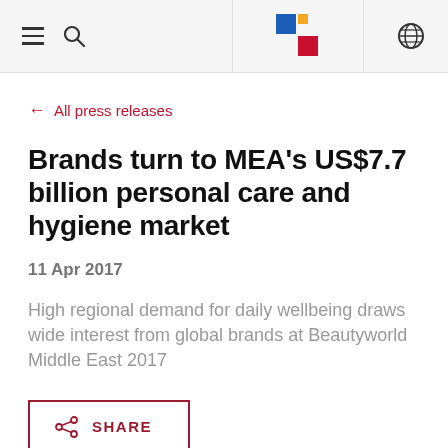Navigation bar with menu, search, logo, and globe icon
← All press releases
Brands turn to MEA's US$7.7 billion personal care and hygiene market
11 Apr 2017
High regional demand for daily wellbeing draws wide interest from global brands at Beautyworld Middle East 2017
SHARE